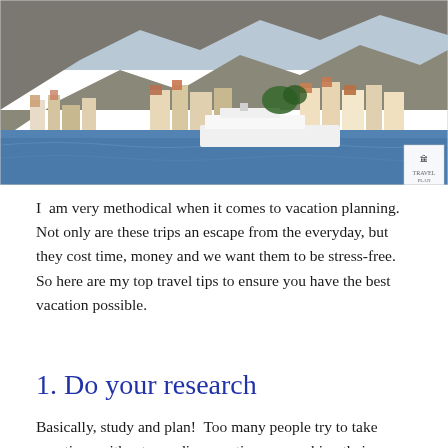[Figure (photo): Coastal Italian town (Amalfi Coast) with colorful buildings on hillside cliffs above the sea, with a white ferry boat in the foreground water]
I  am very methodical when it comes to vacation planning. Not only are these trips an escape from the everyday, but they cost time, money and we want them to be stress-free. So here are my top travel tips to ensure you have the best vacation possible.
1. Do your research
Basically, study and plan! Too many people try to take vacations without spending any time researching their